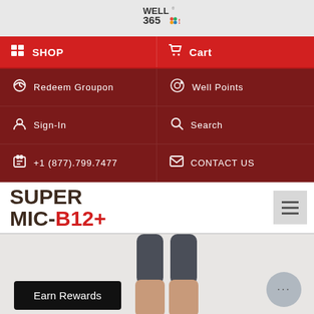[Figure (logo): Well 365 logo with colorful dots and text]
SHOP
Cart
Redeem Groupon
Well Points
Sign-In
Search
+1 (877).799.7477
CONTACT US
SUPER MIC-B12+
[Figure (photo): Person's legs wearing compression socks/leggings, cropped view]
Earn Rewards